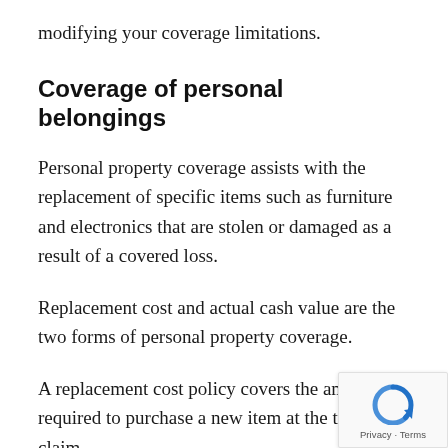modifying your coverage limitations.
Coverage of personal belongings
Personal property coverage assists with the replacement of specific items such as furniture and electronics that are stolen or damaged as a result of a covered loss.
Replacement cost and actual cash value are the two forms of personal property coverage.
A replacement cost policy covers the amount required to purchase a new item at the time of a claim.